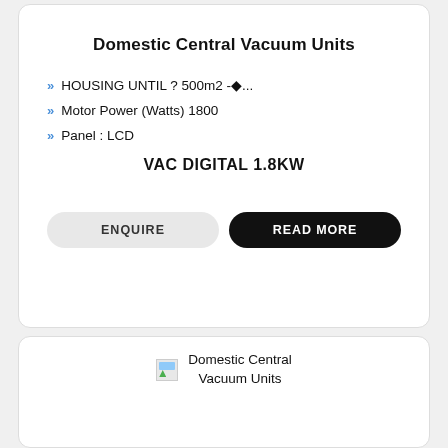Domestic Central Vacuum Units
HOUSING UNTIL ? 500m2 -◆...
Motor Power (Watts) 1800
Panel : LCD
VAC DIGITAL 1.8KW
ENQUIRE
READ MORE
[Figure (illustration): Broken image placeholder icon]
Domestic Central Vacuum Units